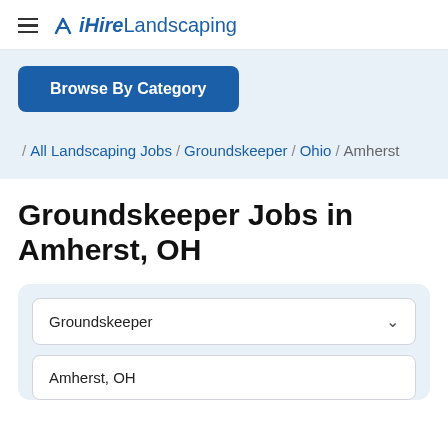iHireLandscaping
Browse By Category
/ All Landscaping Jobs / Groundskeeper / Ohio / Amherst
Groundskeeper Jobs in Amherst, OH
Groundskeeper
Amherst, OH